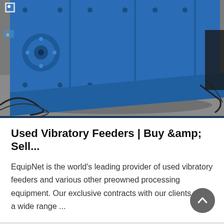[Figure (photo): Large blue industrial vibratory feeder machine lying on a concrete floor in a warehouse, showing metal panels with bolts and a circular hub/motor mount on the side.]
Used Vibratory Feeders | Buy &amp; Sell...
EquipNet is the world's leading provider of used vibratory feeders and various other preowned processing equipment. Our exclusive contracts with our clients yield a wide range ...
[Figure (photo): Bottom partial image showing industrial equipment: on the left, stacked yellow/beige equipment in a warehouse; on the right, a large orange cylindrical industrial machine with golden/brass mechanical components visible.]